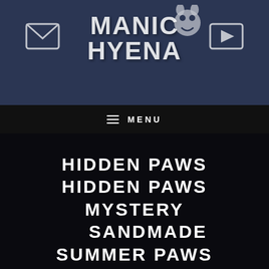[Figure (logo): Manic Hyena logo with stylized text, envelope icon on left, play button icon on right, and cartoon hyena mascot]
MENU
HIDDEN PAWS HIDDEN PAWS MYSTERY SANDMADE SUMMER PAWS
COPYRIGHT © 2022 · MANIC HYENA